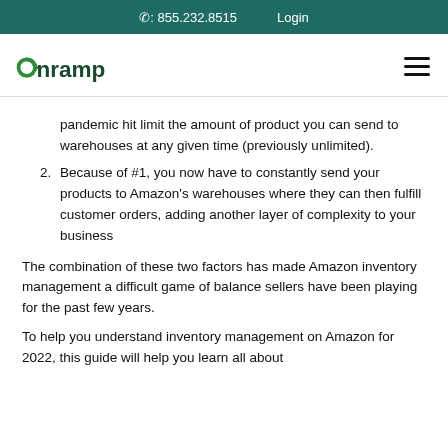☎: 855.232.8515   Login
[Figure (logo): Onramp logo in green with hamburger menu icon]
pandemic hit limit the amount of product you can send to warehouses at any given time (previously unlimited).
Because of #1, you now have to constantly send your products to Amazon's warehouses where they can then fulfill customer orders, adding another layer of complexity to your business
The combination of these two factors has made Amazon inventory management a difficult game of balance sellers have been playing for the past few years.
To help you understand inventory management on Amazon for 2022, this guide will help you learn all about